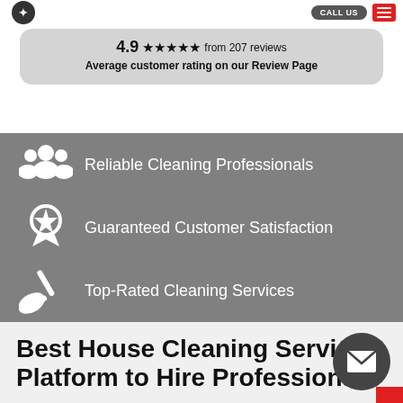Navigation bar with logo, call button, and menu
4.9 ★★★★★ from 207 reviews
Average customer rating on our Review Page
Reliable Cleaning Professionals
Guaranteed Customer Satisfaction
Top-Rated Cleaning Services
Best House Cleaning Services Platform to Hire Professional